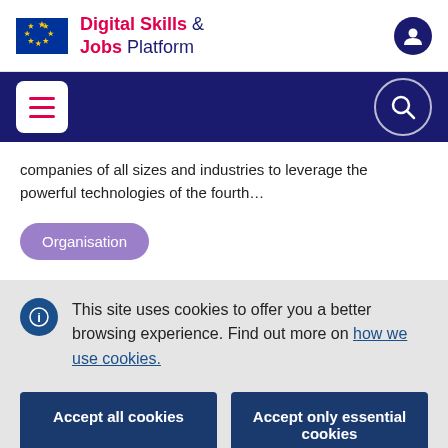Digital Skills & Jobs Platform
companies of all sizes and industries to leverage the powerful technologies of the fourth...
Organisation
This site uses cookies to offer you a better browsing experience. Find out more on how we use cookies.
Accept all cookies
Accept only essential cookies